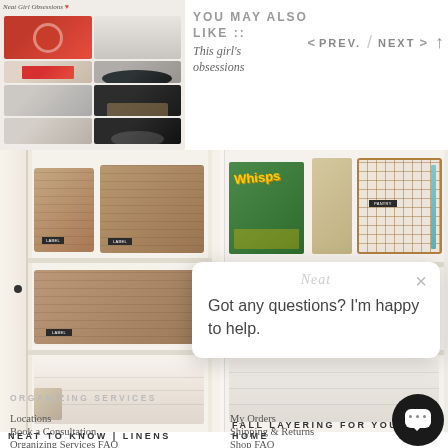[Figure (photo): Thumbnail collage of organized home products including storage baskets and containers with a 'Neat Girl Obsessions' label]
YOU MAY ALSO LIKE :: This girl's obsessions
< PREV. / NEXT >
[Figure (photo): Left photo: organized white shelving unit with woven baskets and folded linens]
[Figure (photo): Right photo: organized white shelving with wire baskets containing Whisps snacks and other pantry/home items]
NEAT TO KNOW | LINENS
FALL LAYERING FOR YOUR HOME
Got any questions? I'm happy to help.
ORGANIZING SERVICES
Locations
Book a Consultation
Organizing Services FAQ
Franchise Info
My Orders
Shipping & Returns
Shop FAQ